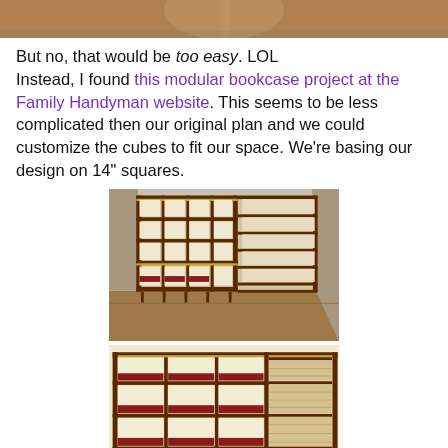[Figure (photo): Partial top image of a person or object, cropped at top of page]
But no, that would be too easy. LOL
Instead, I found this modular bookcase project at the Family Handyman website. This seems to be less complicated then our original plan and we could customize the cubes to fit our space. We're basing our design on 14" squares.
[Figure (illustration): 3D rendering of a walk-in closet shelving system with modular cubes, horizontal rods, and open shelves, viewed from front perspective]
[Figure (illustration): 3D rendering of a modular bookcase/closet unit closeup showing cube shelves and pull-out drawers on the right side]